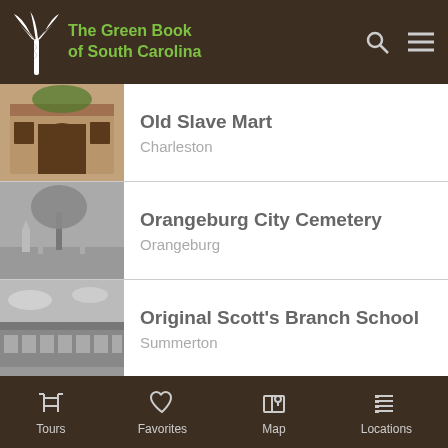The Green Book of South Carolina
Old Slave Mart
Charleston
Orangeburg City Cemetery
Orangeburg
Original Scott's Branch School
Summerton
Palmetto High School
Tours   Favorites   Map   Locations